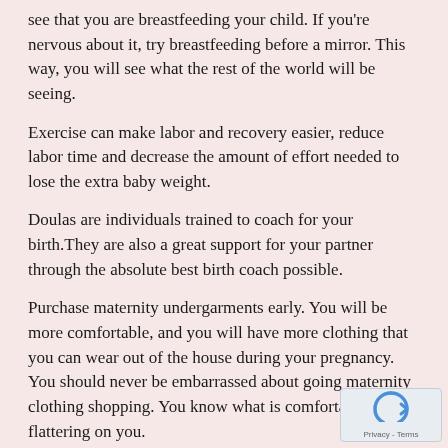see that you are breastfeeding your child. If you're nervous about it, try breastfeeding before a mirror. This way, you will see what the rest of the world will be seeing.
Exercise can make labor and recovery easier, reduce labor time and decrease the amount of effort needed to lose the extra baby weight.
Doulas are individuals trained to coach for your birth.They are also a great support for your partner through the absolute best birth coach possible.
Purchase maternity undergarments early. You will be more comfortable, and you will have more clothing that you can wear out of the house during your pregnancy. You should never be embarrassed about going maternity clothing shopping. You know what is comfortable and flattering on you.
Be sure to receive your flu shot given to you when you get pregnant. When pregnant, your immune system is weakened, making it more likely for you to contract the flu. This could be dangerous for you and your unborn child.